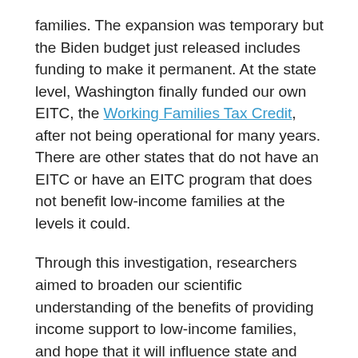families. The expansion was temporary but the Biden budget just released includes funding to make it permanent. At the state level, Washington finally funded our own EITC, the Working Families Tax Credit, after not being operational for many years. There are other states that do not have an EITC or have an EITC program that does not benefit low-income families at the levels it could.
Through this investigation, researchers aimed to broaden our scientific understanding of the benefits of providing income support to low-income families, and hope that it will influence state and federal policymakers to think about the potential for providing income support.
This fact sheet was developed by Ali Rowhani-